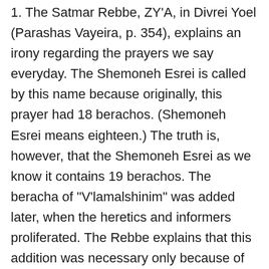1. The Satmar Rebbe, ZY'A, in Divrei Yoel (Parashas Vayeira, p. 354), explains an irony regarding the prayers we say everyday. The Shemoneh Esrei is called by this name because originally, this prayer had 18 berachos. (Shemoneh Esrei means eighteen.) The truth is, however, that the Shemoneh Esrei as we know it contains 19 berachos. The beracha of "V'lamalshinim" was added later, when the heretics and informers proliferated. The Rebbe explains that this addition was necessary only because of galus, but in the time of Moshiach, the hearts of Klal Yisroel will be turned back to their Father in Heaven and there will be no more apikorsim. Shemoneh Esrei will return to consisting